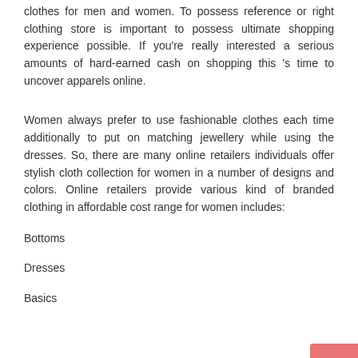clothes for men and women. To possess reference or right clothing store is important to possess ultimate shopping experience possible. If you're really interested a serious amounts of hard-earned cash on shopping this 's time to uncover apparels online.
Women always prefer to use fashionable clothes each time additionally to put on matching jewellery while using the dresses. So, there are many online retailers individuals offer stylish cloth collection for women in a number of designs and colors. Online retailers provide various kind of branded clothing in affordable cost range for women includes:
Bottoms
Dresses
Basics